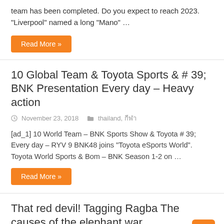team has been completed. Do you expect to reach 2023. "Liverpool" named a long "Mano" …
Read More »
10 Global Team & Toyota Sports & # 39; BNK Presentation Every day – Heavy action
© November 23, 2018   thailand, กีฬา
[ad_1] 10 World Team – BNK Sports Show & Toyota # 39; Every day – RYV 9 BNK48 joins "Toyota eSports World". Toyota World Sports & Bom – BNK Season 1-2 on …
Read More »
That red devil! Tagging Ragba The causes of the elephant war.
© November 23, 2018   thailand, กีฬา